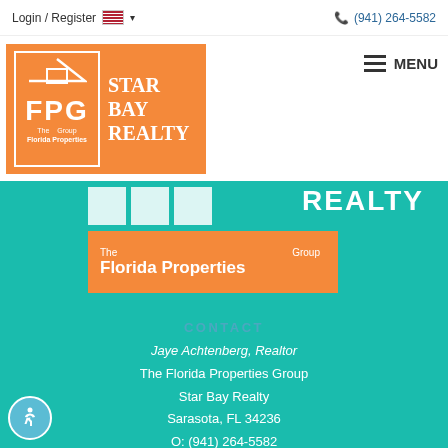Login / Register  (941) 264-5582
[Figure (logo): FPG Star Bay Realty – The Florida Properties Group logo on orange background]
[Figure (logo): Partial FPG Star Bay Realty logo overlay on teal background with 'REALTY' text and 'The Florida Properties Group' label]
CONTACT
Jaye Achtenberg, Realtor
The Florida Properties Group
Star Bay Realty
Sarasota, FL 34236
O: (941) 264-5582
M: (941) 264-5582